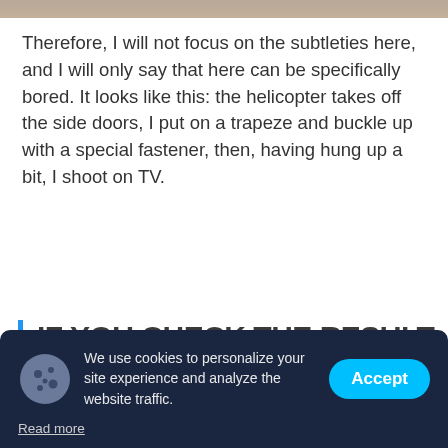[Figure (photo): Top portion of an outdoor photo, mostly blurred landscape/ground]
Therefore, I will not focus on the subtleties here, and I will only say that here can be specifically bored. It looks like this: the helicopter takes off the side doors, I put on a trapeze and buckle up with a special fastener, then, having hung up a bit, I shoot on TV.
IF YOU CHECK THE RESULT ON THE SCREEN OF THE CAMERA, IT WILL BURST INTO MY STOMACH AND
We use cookies to personalize your site experience and analyze the website traffic.
Read more